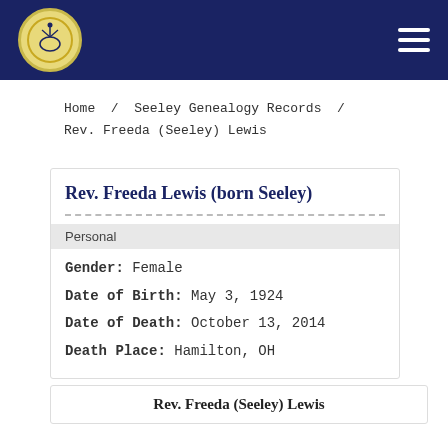Navigation bar with logo and hamburger menu
Home / Seeley Genealogy Records / Rev. Freeda (Seeley) Lewis
Rev. Freeda Lewis (born Seeley)
Personal
Gender: Female
Date of Birth: May 3, 1924
Date of Death: October 13, 2014
Death Place: Hamilton, OH
Rev. Freeda (Seeley) Lewis